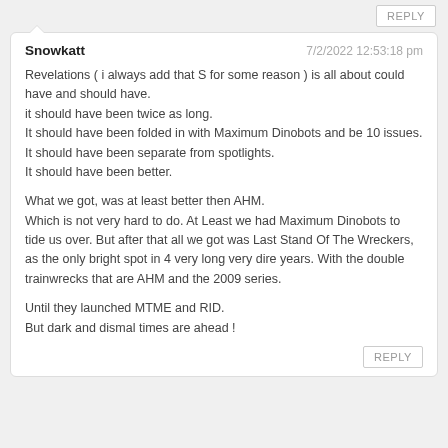REPLY
Snowkatt
7/2/2022 12:53:18 pm

Revelations ( i always add that S for some reason ) is all about could have and should have.
it should have been twice as long.
It should have been folded in with Maximum Dinobots and be 10 issues.
It should have been separate from spotlights.
It should have been better.

What we got, was at least better then AHM.
Which is not very hard to do. At Least we had Maximum Dinobots to tide us over. But after that all we got was Last Stand Of The Wreckers, as the only bright spot in 4 very long very dire years. With the double trainwrecks that are AHM and the 2009 series.

Until they launched MTME and RID.
But dark and dismal times are ahead !
REPLY